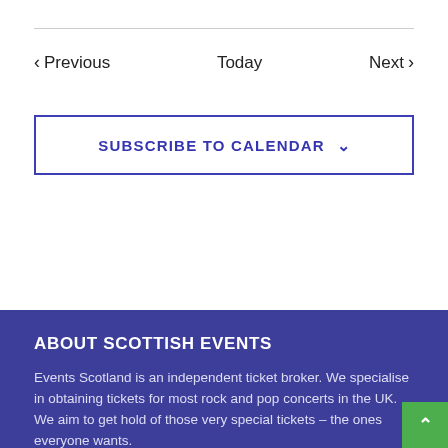< Previous    Today    Next >
SUBSCRIBE TO CALENDAR ˅
ABOUT SCOTTISH EVENTS
Events Scotland is an independent ticket broker. We specialise in obtaining tickets for most rock and pop concerts in the UK. We aim to get hold of those very special tickets – the ones everyone wants.